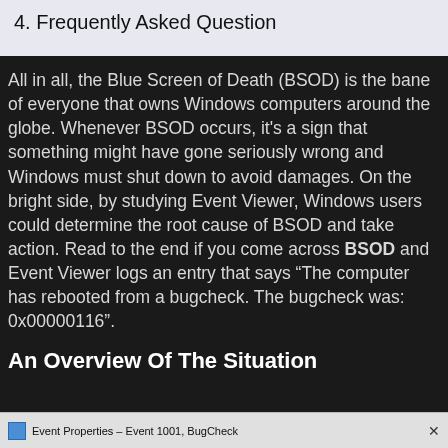4. Frequently Asked Question
All in all, the Blue Screen of Death (BSOD) is the bane of everyone that owns Windows computers around the globe. Whenever BSOD occurs, it's a sign that something might have gone seriously wrong and Windows must shut down to avoid damages. On the bright side, by studying Event Viewer, Windows users could determine the root cause of BSOD and take action. Read to the end if you come across BSOD and Event Viewer logs an entry that says “The computer has rebooted from a bugcheck. The bugcheck was: 0x00000116”.
An Overview Of The Situation
Event Properties – Event 1001, BugCheck